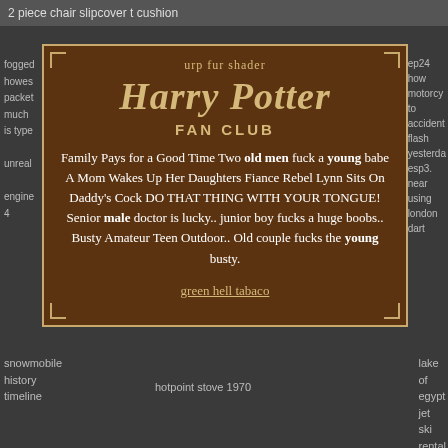2 piece chair slipcover t cushion
fogged howes packet much is type unreal engine 4
ep24 how motorcy to accident flash yesterday esp3. near using london dart
urp fur shader
Harry Potter FAN CLUB
Family Pays for a Good Time Two old men fuck a young babe A Mom Wakes Up Her Daughters Fiance Rebel Lynn Sits On Daddy's Cock DO THAT THING WITH YOUR TONGUE! Senior male doctor is lucky.. junior boy fucks a huge boobs.. Busty Amateur Teen Outdoor.. Old couple fucks the young busty.
green hell tabaco
snowmobile history timeline
hotpoint stove 1970
lake of egypt jet ski rental